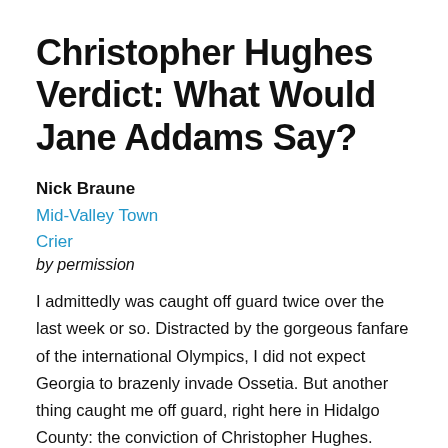Christopher Hughes Verdict: What Would Jane Addams Say?
Nick Braune
Mid-Valley Town Crier
by permission
I admittedly was caught off guard twice over the last week or so. Distracted by the gorgeous fanfare of the international Olympics, I did not expect Georgia to brazenly invade Ossetia. But another thing caught me off guard, right here in Hidalgo County: the conviction of Christopher Hughes.